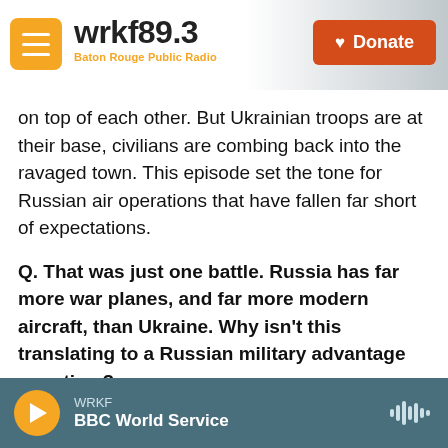[Figure (screenshot): WRKF 89.3 Baton Rouge Public Radio website header with orange menu button, logo, and red Donate button]
on top of each other. But Ukrainian troops are at their base, civilians are combing back into the ravaged town. This episode set the tone for Russian air operations that have fallen far short of expectations.
Q. That was just one battle. Russia has far more war planes, and far more modern aircraft, than Ukraine. Why isn't this translating to a Russian military advantage over time?
The Russians are believed to have at least 15 military aircraft for every one Ukraine has, and
WRKF
BBC World Service